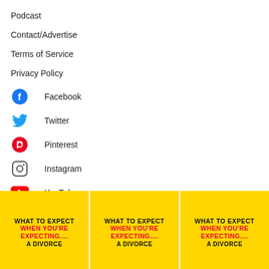Podcast
Contact/Advertise
Terms of Service
Privacy Policy
Facebook
Twitter
Pinterest
Instagram
YouTube
LinkedIn
[Figure (photo): Three book covers each showing 'What to Expect When You're Expecting... A Divorce' with yellow background and bold red/black text]